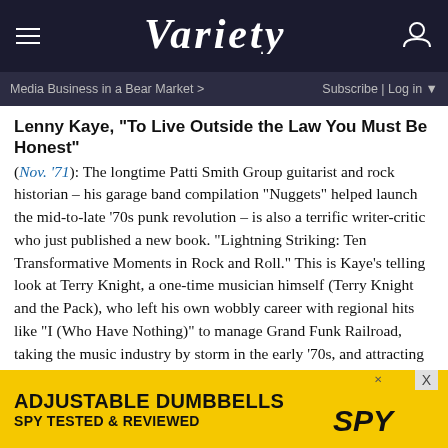VARIETY
Media Business in a Bear Market > | Subscribe | Log in
Lenny Kaye, “To Live Outside the Law You Must Be Honest”
(Nov. ’71): The longtime Patti Smith Group guitarist and rock historian – his garage band compilation “Nuggets” helped launch the mid-to-late ’70s punk revolution – is also a terrific writer-critic who just published a new book. “Lightning Striking: Ten Transformative Moments in Rock and Roll.” This is Kaye’s telling look at Terry Knight, a one-time musician himself (Terry Knight and the Pack), who left his own wobbly career with regional hits like “I (Who Have Nothing)” to manage Grand Funk Railroad, taking the music industry by storm in the early ’70s, and attracting the support of their fellow Midwesterners at Creem. The occasion was the band’s sold-out concert at Shea Stadium – just days after the death of Jim Morrison – as Lenny rides t...
[Figure (other): Advertisement banner for Adjustable Dumbbells by SPY, yellow background with bold text reading ADJUSTABLE DUMBBELLS SPY TESTED & REVIEWED]